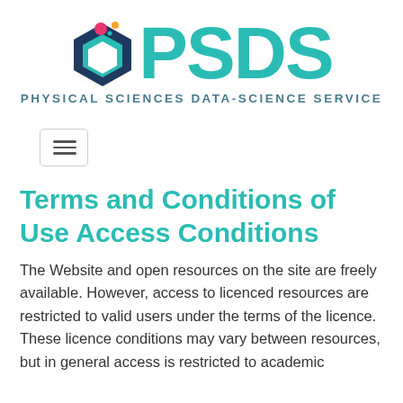[Figure (logo): PSDS logo with hexagonal icon featuring pink circle, orange dot, and dark blue geometric shape, alongside large teal PSDS letters]
PHYSICAL SCIENCES DATA-SCIENCE SERVICE
[Figure (other): Hamburger menu button with three horizontal lines inside a rounded rectangle border]
Terms and Conditions of Use Access Conditions
The Website and open resources on the site are freely available. However, access to licenced resources are restricted to valid users under the terms of the licence. These licence conditions may vary between resources, but in general access is restricted to academic